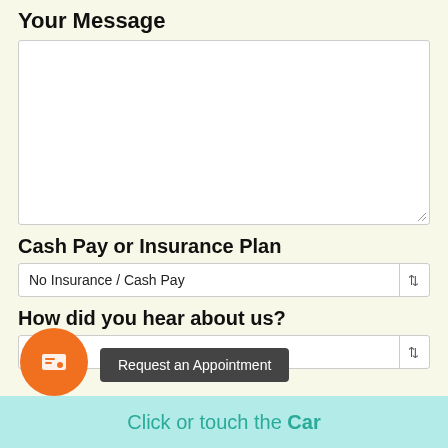Your Message
[Figure (other): Empty text area input box for user message]
Cash Pay or Insurance Plan
No Insurance / Cash Pay
How did you hear about us?
le Ad
Request an Appointment
Click or touch the Car